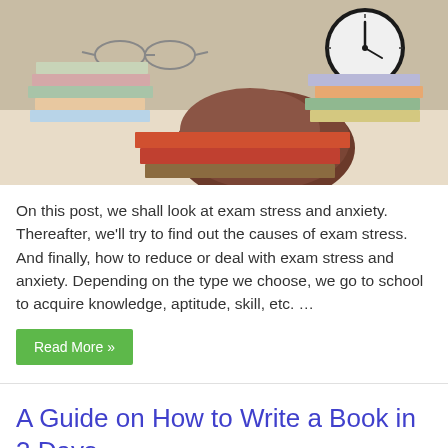[Figure (photo): A student with head resting on books, surrounded by stacks of books and an alarm clock in the background, illustrating exam stress and anxiety.]
On this post, we shall look at exam stress and anxiety. Thereafter, we'll try to find out the causes of exam stress. And finally, how to reduce or deal with exam stress and anxiety. Depending on the type we choose, we go to school to acquire knowledge, aptitude, skill, etc. …
Read More »
A Guide on How to Write a Book in 3 Days
Tutorials   0
If you are on this web page because you have a dream